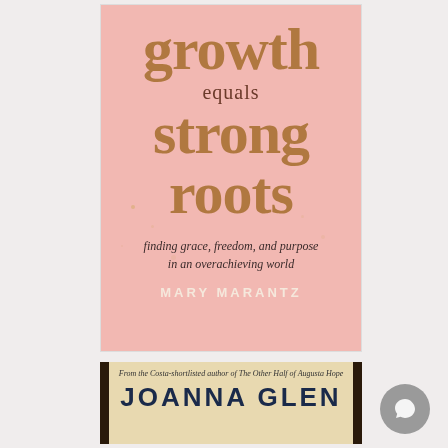[Figure (illustration): Book cover for 'growth equals strong roots: finding grace, freedom, and purpose in an overachieving world' by Mary Marantz. Pink background with gold serif title text and dark script subtitle.]
[Figure (illustration): Partial book cover for a book by Joanna Glen. Beige/cream background with dark vertical stripes on sides. Top text reads 'From the Costa-shortlisted author of The Other Half of Augusta Hope'. Author name 'JOANNA GLEN' in large navy bold lettering.]